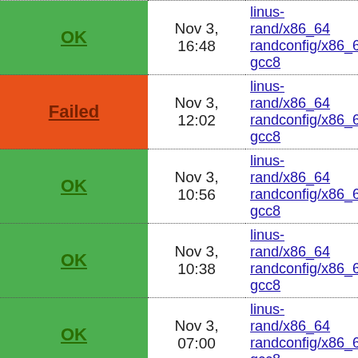| Status | Date | Config |
| --- | --- | --- |
| OK | Nov 3, 16:48 | linus-rand/x86_64 randconfig/x86_6 gcc8 |
| Failed | Nov 3, 12:02 | linus-rand/x86_64 randconfig/x86_6 gcc8 |
| OK | Nov 3, 10:56 | linus-rand/x86_64 randconfig/x86_6 gcc8 |
| OK | Nov 3, 10:38 | linus-rand/x86_64 randconfig/x86_6 gcc8 |
| OK | Nov 3, 07:00 | linus-rand/x86_64 randconfig/x86_6 gcc8 |
| Failed | Nov 3, 04:58 | linus-rand/x86_64 randconfig/x86_6 gcc8 |
| OK | Nov 3, ... | linus-rand/x86_6... |